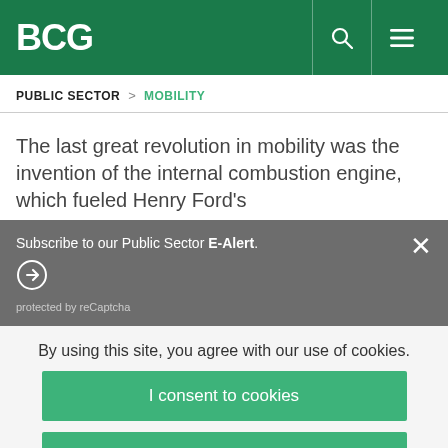BCG
PUBLIC SECTOR > MOBILITY
The last great revolution in mobility was the invention of the internal combustion engine, which fueled Henry Ford’s
Subscribe to our Public Sector E-Alert.
protected by reCaptcha
By using this site, you agree with our use of cookies.
I consent to cookies
Want to know more?
Read our Cookie Policy